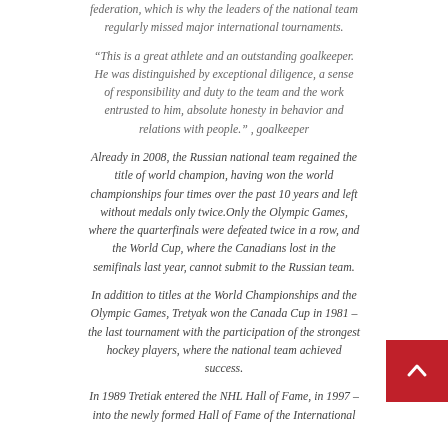federation, which is why the leaders of the national team regularly missed major international tournaments.
“This is a great athlete and an outstanding goalkeeper. He was distinguished by exceptional diligence, a sense of responsibility and duty to the team and the work entrusted to him, absolute honesty in behavior and relations with people.” , goalkeeper
Already in 2008, the Russian national team regained the title of world champion, having won the world championships four times over the past 10 years and left without medals only twice.Only the Olympic Games, where the quarterfinals were defeated twice in a row, and the World Cup, where the Canadians lost in the semifinals last year, cannot submit to the Russian team.
In addition to titles at the World Championships and the Olympic Games, Tretyak won the Canada Cup in 1981 – the last tournament with the participation of the strongest hockey players, where the national team achieved success.
In 1989 Tretiak entered the NHL Hall of Fame, in 1997 – into the newly formed Hall of Fame of the International